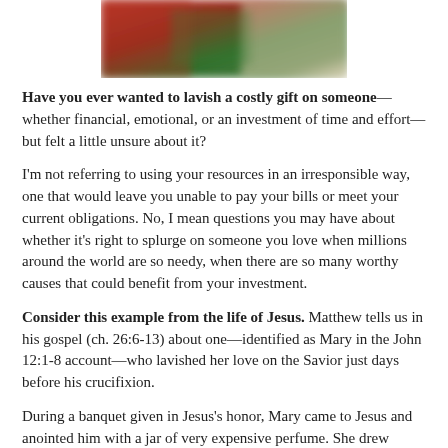[Figure (photo): Blurred photo of red, green, and white/cream colors, likely flowers or foliage]
Have you ever wanted to lavish a costly gift on someone—whether financial, emotional, or an investment of time and effort—but felt a little unsure about it?
I'm not referring to using your resources in an irresponsible way, one that would leave you unable to pay your bills or meet your current obligations. No, I mean questions you may have about whether it's right to splurge on someone you love when millions around the world are so needy, when there are so many worthy causes that could benefit from your investment.
Consider this example from the life of Jesus. Matthew tells us in his gospel (ch. 26:6-13) about one—identified as Mary in the John 12:1-8 account—who lavished her love on the Savior just days before his crucifixion.
During a banquet given in Jesus's honor, Mary came to Jesus and anointed him with a jar of very expensive perfume. She drew immediate criticism, however, from the disciples for what they called a waste. They pointed out